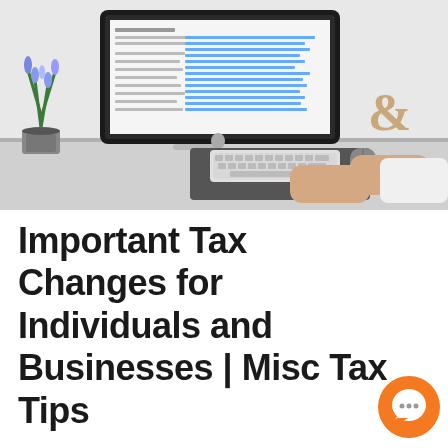[Figure (photo): A person sitting at a desk using an iMac computer displaying a document page. On the desk there is also a plant with blue flowers, a wooden ampersand decoration, and a keyboard with mouse on a dark mousepad.]
Important Tax Changes for Individuals and Businesses | Misc Tax Tips